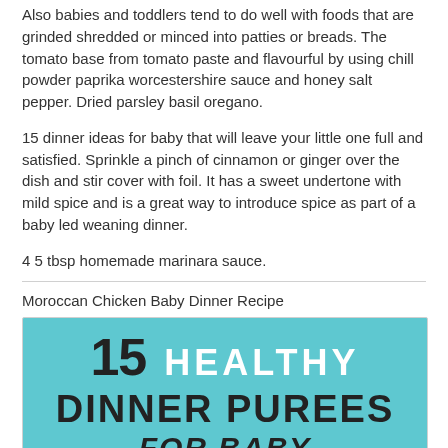Also babies and toddlers tend to do well with foods that are grinded shredded or minced into patties or breads. The tomato base from tomato paste and flavourful by using chill powder paprika worcestershire sauce and honey salt pepper. Dried parsley basil oregano.
15 dinner ideas for baby that will leave your little one full and satisfied. Sprinkle a pinch of cinnamon or ginger over the dish and stir cover with foil. It has a sweet undertone with mild spice and is a great way to introduce spice as part of a baby led weaning dinner.
4 5 tbsp homemade marinara sauce.
Moroccan Chicken Baby Dinner Recipe
[Figure (infographic): Light blue background infographic with text reading '15 HEALTHY DINNER PUREES FOR BABY' in large bold black and white letters]